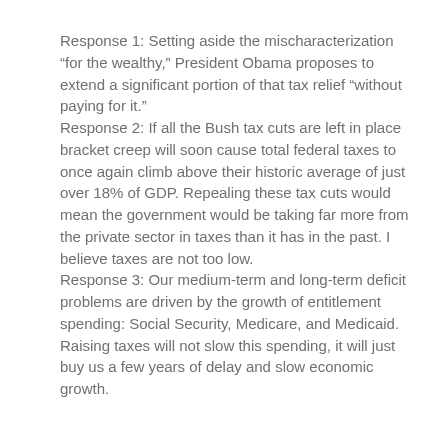Response 1: Setting aside the mischaracterization “for the wealthy,” President Obama proposes to extend a significant portion of that tax relief “without paying for it.”
Response 2: If all the Bush tax cuts are left in place bracket creep will soon cause total federal taxes to once again climb above their historic average of just over 18% of GDP. Repealing these tax cuts would mean the government would be taking far more from the private sector in taxes than it has in the past. I believe taxes are not too low.
Response 3: Our medium-term and long-term deficit problems are driven by the growth of entitlement spending: Social Security, Medicare, and Medicaid. Raising taxes will not slow this spending, it will just buy us a few years of delay and slow economic growth.